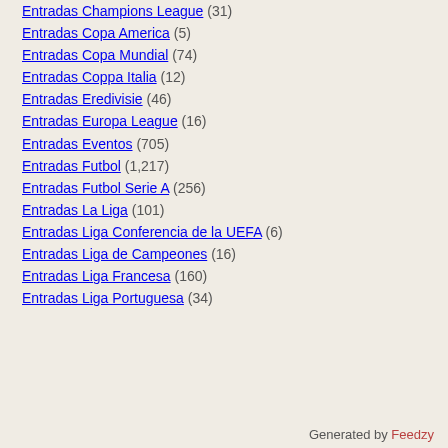Entradas Champions League (31)
Entradas Copa America (5)
Entradas Copa Mundial (74)
Entradas Coppa Italia (12)
Entradas Eredivisie (46)
Entradas Europa League (16)
Entradas Eventos (705)
Entradas Futbol (1,217)
Entradas Futbol Serie A (256)
Entradas La Liga (101)
Entradas Liga Conferencia de la UEFA (6)
Entradas Liga de Campeones (16)
Entradas Liga Francesa (160)
Entradas Liga Portuguesa (34)
Generated by Feedzy